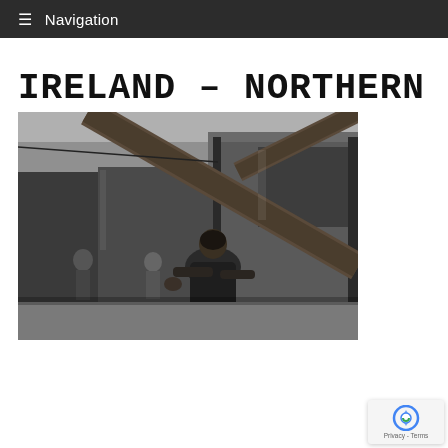≡ Navigation
IRELAND – NORTHERN
[Figure (photo): Black and white photograph of a person carrying or pushing a large tree branch or log in an urban street setting. Another person is visible in the background near a building facade.]